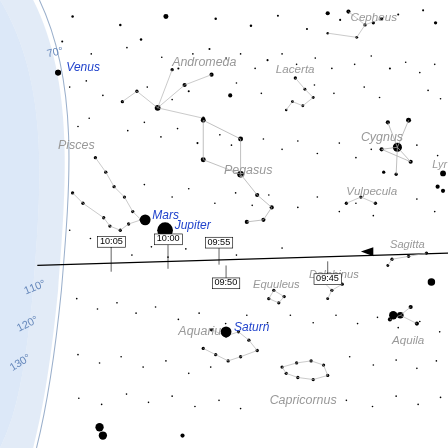[Figure (map): Star map showing constellations including Pegasus, Andromeda, Pisces, Cygnus, Lacerta, Vulpecula, Aquarius, Delphinus, Equuleus, Aquila, Sagitta, Capricornus, Cepheus, and Lyra. Planets Mars, Jupiter, Saturn, and Venus are labeled in blue. Time markers 10:05, 10:00, 09:55, 09:50, 09:45 are shown along the horizon line. Degree markers 70°, 110°, 120°, 130° are shown on the left curved edge.]